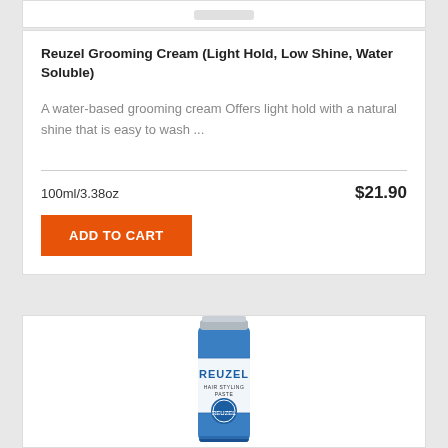Reuzel Grooming Cream (Light Hold, Low Shine, Water Soluble)
A water-based grooming cream Offers light hold with a natural shine that is easy to wash ...
100ml/3.38oz
$21.90
ADD TO CART
[Figure (photo): Reuzel blue hair styling paste tube product photo]